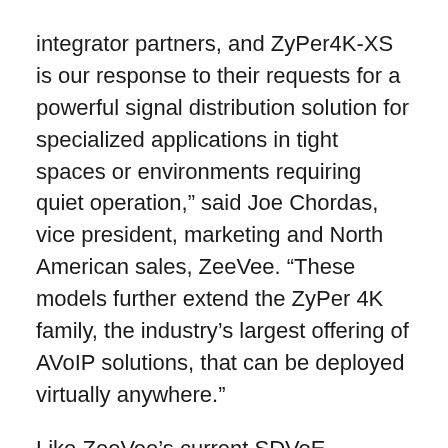integrator partners, and ZyPer4K-XS is our response to their requests for a powerful signal distribution solution for specialized applications in tight spaces or environments requiring quiet operation," said Joe Chordas, vice president, marketing and North American sales, ZeeVee. “These models further extend the ZyPer 4K family, the industry’s largest offering of AVoIP solutions, that can be deployed virtually anywhere."
Like ZeeVee’s current SDVoE encoders and decoders, standard features of the ZyPer4K-XS includes:
Uncompressed zero latency UltraHD (4K/60) video, audio and control
Lossless transport of 7.1 audio signals including all encoded formats and